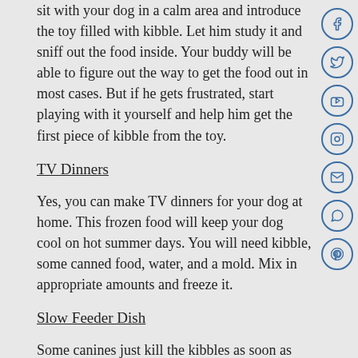sit with your dog in a calm area and introduce the toy filled with kibble. Let him study it and sniff out the food inside. Your buddy will be able to figure out the way to get the food out in most cases. But if he gets frustrated, start playing with it yourself and help him get the first piece of kibble from the toy.
TV Dinners
Yes, you can make TV dinners for your dog at home. This frozen food will keep your dog cool on hot summer days. You will need kibble, some canned food, water, and a mold. Mix in appropriate amounts and freeze it.
Slow Feeder Dish
Some canines just kill the kibbles as soon as they are served their meal. Slow feeder dishes have small vertical pieces attached across their surface making eating quickly too difficult. However, there are different types of slow-feeder dog dishes available but